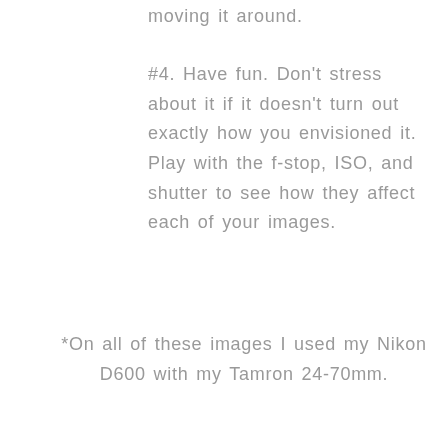moving it around.
#4. Have fun. Don't stress about it if it doesn't turn out exactly how you envisioned it. Play with the f-stop, ISO, and shutter to see how they affect each of your images.
*On all of these images I used my Nikon D600 with my Tamron 24-70mm.